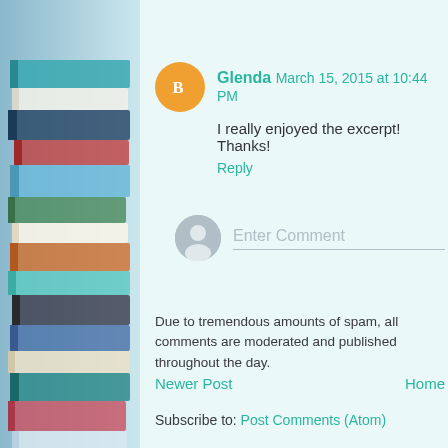[Figure (photo): Stack of books on left side of page, light blue and teal tones]
Glenda  March 15, 2015 at 10:44 PM
I really enjoyed the excerpt! Thanks!
Reply
Enter Comment
Due to tremendous amounts of spam, all comments are moderated and published throughout the day.
Newer Post
Home
Subscribe to: Post Comments (Atom)